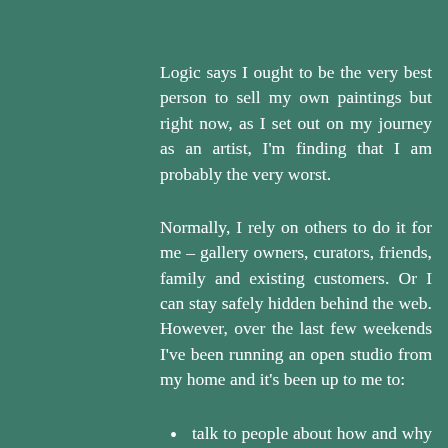Logic says I ought to be the very best person to sell my own paintings but right now, as I set out on my journey as an artist, I'm finding that I am probably the very worst.
Normally, I rely on others to do it for me – gallery owners, curators, friends, family and existing customers. Or I can stay safely hidden behind the web. However, over the last few weekends I've been running an open studio from my home and it's been up to me to:
talk to people about how and why I paint (fine, I can do that